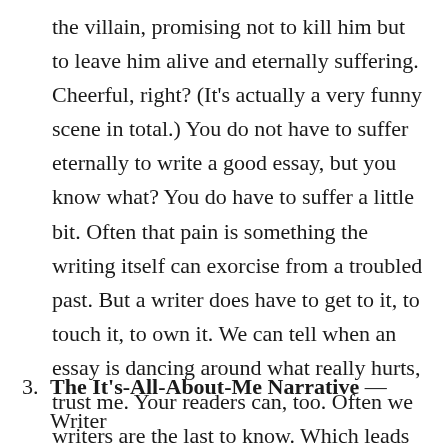the villain, promising not to kill him but to leave him alive and eternally suffering. Cheerful, right? (It's actually a very funny scene in total.) You do not have to suffer eternally to write a good essay, but you know what? You do have to suffer a little bit. Often that pain is something the writing itself can exorcise from a troubled past. But a writer does have to get to it, to touch it, to own it. We can tell when an essay is dancing around what really hurts, trust me. Your readers can, too. Often we writers are the last to know. Which leads me to . . .
3. The It's-All-About-Me Narrative — Writer